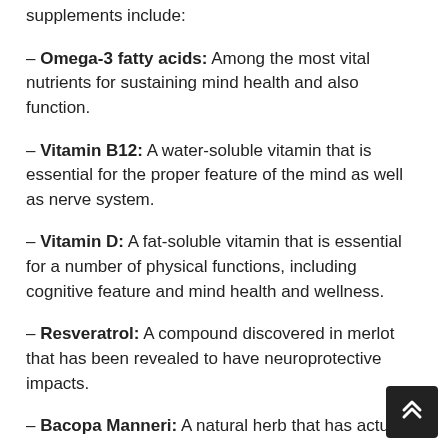Other important components to use in brain supplements include:
– Omega-3 fatty acids: Among the most vital nutrients for sustaining mind health and also function.
– Vitamin B12: A water-soluble vitamin that is essential for the proper feature of the mind as well as nerve system.
– Vitamin D: A fat-soluble vitamin that is essential for a number of physical functions, including cognitive feature and mind health and wellness.
– Resveratrol: A compound discovered in merlot that has been revealed to have neuroprotective impacts.
– Bacopa Manneri: A natural herb that has actually